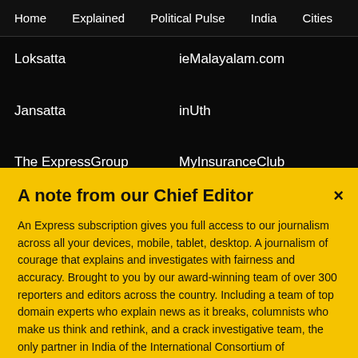Home   Explained   Political Pulse   India   Cities   Opinion   Entertainment
Loksatta
ieMalayalam.com
Jansatta
inUth
The ExpressGroup
MyInsuranceClub
A note from our Chief Editor
An Express subscription gives you full access to our journalism across all your devices, mobile, tablet, desktop. A journalism of courage that explains and investigates with fairness and accuracy. Brought to you by our award-winning team of over 300 reporters and editors across the country. Including a team of top domain experts who explain news as it breaks, columnists who make us think and rethink, and a crack investigative team, the only partner in India of the International Consortium of Investigative Journalists. Jo
Buy Now →